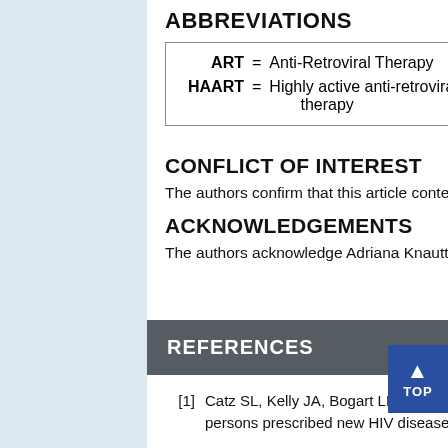ABBREVIATIONS
| Abbreviation | = | Definition |
| --- | --- | --- |
| ART | = | Anti-Retroviral Therapy |
| HAART | = | Highly active anti-retroviral therapy |
CONFLICT OF INTEREST
The authors confirm that this article content has no conflict of interest.
ACKNOWLEDGEMENTS
The authors acknowledge Adriana Knautter for her services in Spanish interpretation.
REFERENCES
[1] Catz SL, Kelly JA, Bogart LM, Benotsch EG Patterns, correlates, and barriers to medication adherence among persons prescribed new HIV disease Health Psychol Off J Div Health